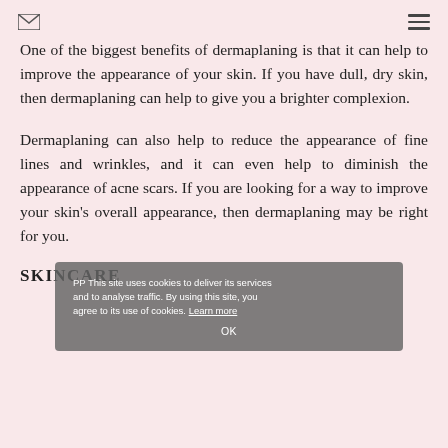[envelope icon] [menu icon]
One of the biggest benefits of dermaplaning is that it can help to improve the appearance of your skin. If you have dull, dry skin, then dermaplaning can help to give you a brighter complexion.
Dermaplaning can also help to reduce the appearance of fine lines and wrinkles, and it can even help to diminish the appearance of acne scars. If you are looking for a way to improve your skin's overall appearance, then dermaplaning may be right for you.
SKINCARE